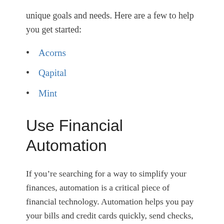unique goals and needs. Here are a few to help you get started:
Acorns
Qapital
Mint
Use Financial Automation
If you’re searching for a way to simplify your finances, automation is a critical piece of financial technology. Automation helps you pay your bills and credit cards quickly, send checks, and save a portion of your paycheck in an emergency fund, and retirement